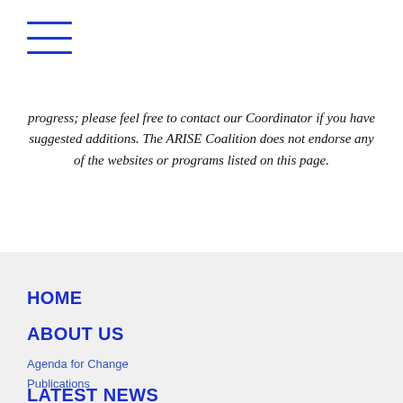[hamburger menu icon]
progress; please feel free to contact our Coordinator if you have suggested additions. The ARISE Coalition does not endorse any of the websites or programs listed on this page.
HOME
ABOUT US
Agenda for Change
Publications
LATEST NEWS